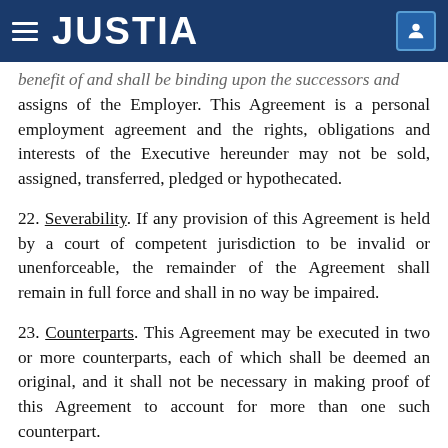JUSTIA
benefit of and shall be binding upon the successors and assigns of the Employer. This Agreement is a personal employment agreement and the rights, obligations and interests of the Executive hereunder may not be sold, assigned, transferred, pledged or hypothecated.
22. Severability. If any provision of this Agreement is held by a court of competent jurisdiction to be invalid or unenforceable, the remainder of the Agreement shall remain in full force and shall in no way be impaired.
23. Counterparts. This Agreement may be executed in two or more counterparts, each of which shall be deemed an original, and it shall not be necessary in making proof of this Agreement to account for more than one such counterpart.